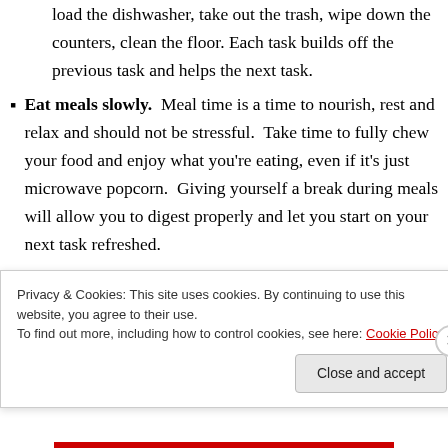load the dishwasher, take out the trash, wipe down the counters, clean the floor. Each task builds off the previous task and helps the next task.
Eat meals slowly.  Meal time is a time to nourish, rest and relax and should not be stressful.  Take time to fully chew your food and enjoy what you're eating, even if it's just microwave popcorn.  Giving yourself a break during meals will allow you to digest properly and let you start on your next task refreshed.
[Figure (screenshot): Tumblr banner image with orange left half and purple right half and 'tumblr' text in the center]
Privacy & Cookies: This site uses cookies. By continuing to use this website, you agree to their use.
To find out more, including how to control cookies, see here: Cookie Policy